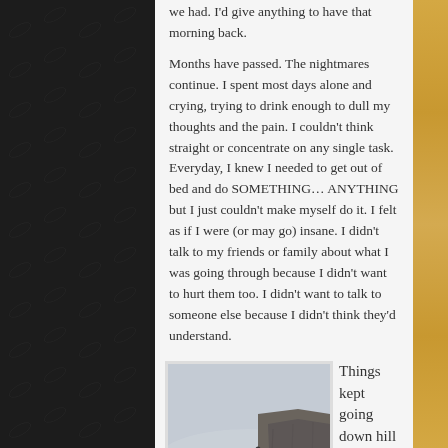we had. I'd give anything to have that morning back.
Months have passed. The nightmares continue. I spent most days alone and crying, trying to drink enough to dull my thoughts and the pain. I couldn't think straight or concentrate on any single task. Everyday, I knew I needed to get out of bed and do SOMETHING… ANYTHING but I just couldn't make myself do it. I felt as if I were (or may go) insane. I didn't talk to my friends or family about what I was going through because I didn't want to hurt them too. I didn't want to talk to someone else because I didn't think they'd understand.
[Figure (photo): A lone person standing on the edge of a dramatic cliff (Preikestolen/Pulpit Rock style) in misty, overcast conditions, with steep rocky walls dropping into fog below.]
Things kept going down hill and I was inchi